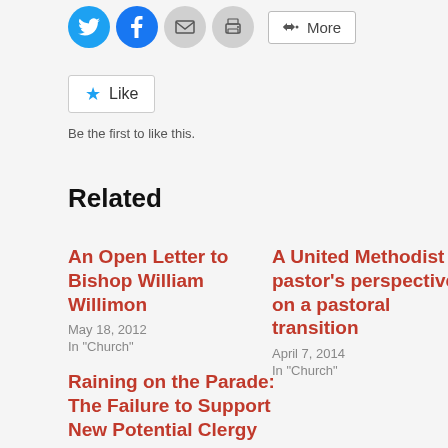[Figure (other): Social sharing buttons: Twitter (blue bird icon), Facebook (blue f icon), Email (envelope icon), Print (printer icon), and More button]
[Figure (other): WordPress Like button with blue star icon and 'Like' text]
Be the first to like this.
Related
An Open Letter to Bishop William Willimon
May 18, 2012
In "Church"
A United Methodist pastor's perspective on a pastoral transition
April 7, 2014
In "Church"
Raining on the Parade: The Failure to Support New Potential Clergy
April 7, 2010